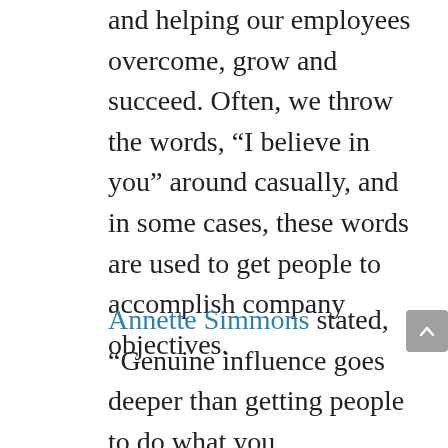and helping our employees overcome, grow and succeed. Often, we throw the words, “I believe in you” around casually, and in some cases, these words are used to get people to accomplish company objectives.
Annette Simmons stated, “Genuine influence goes deeper than getting people to do what you